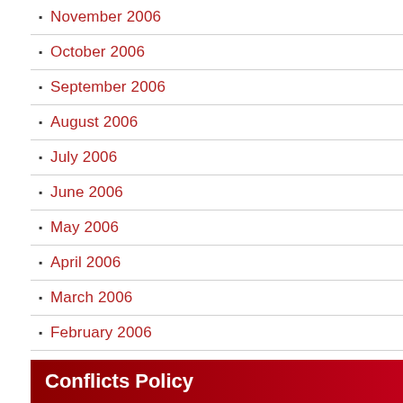November 2006
October 2006
September 2006
August 2006
July 2006
June 2006
May 2006
April 2006
March 2006
February 2006
January 2006
December 2005
November 2005
October 2005
September 2005
August 2005
July 2005
Conflicts Policy